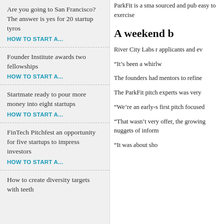Are you going to San Francisco? The answer is yes for 20 startup tyros
HOW TO START A...
Founder Institute awards two fellowships
HOW TO START A...
Startmate ready to pour more money into eight startups
HOW TO START A...
FinTech Pitchfest an opportunity for five startups to impress investors
HOW TO START A...
How to create diversity targets with teeth
ParkFit is a sma sourced and pub easy to exercise
A weekend b
River City Labs r applicants and ev
“It’s been a whirlw
The founders had mentors to refine
The ParkFit pitch experts was very
“We’re an early-s first pitch focused
“That wasn’t very offer, the growing nuggets of inform
“It was about sho